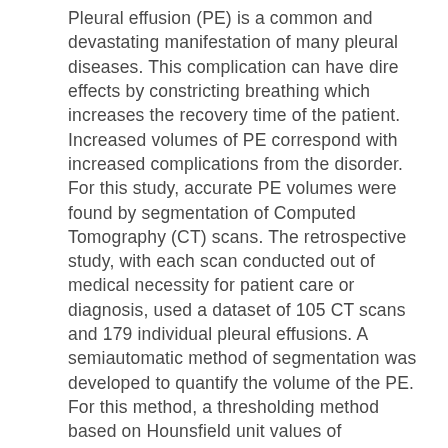Pleural effusion (PE) is a common and devastating manifestation of many pleural diseases. This complication can have dire effects by constricting breathing which increases the recovery time of the patient. Increased volumes of PE correspond with increased complications from the disorder. For this study, accurate PE volumes were found by segmentation of Computed Tomography (CT) scans. The retrospective study, with each scan conducted out of medical necessity for patient care or diagnosis, used a dataset of 105 CT scans and 179 individual pleural effusions. A semiautomatic method of segmentation was developed to quantify the volume of the PE. For this method, a thresholding method based on Hounsfield unit values of